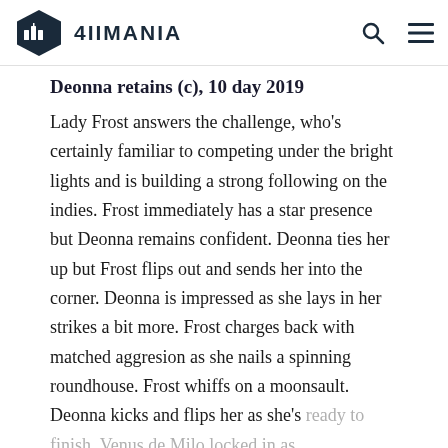4IIMANIA
Deonna retains (c), 10 day 2019
Lady Frost answers the challenge, who's certainly familiar to competing under the bright lights and is building a strong following on the indies. Frost immediately has a star presence but Deonna remains confident. Deonna ties her up but Frost flips out and sends her into the corner. Deonna is impressed as she lays in her strikes a bit more. Frost charges back with matched aggresion as she nails a spinning roundhouse. Frost whiffs on a moonsault. Deonna kicks and flips her as she's ready to finish. Venus de Milo locked in as Frost taps and Deonna retains. Deonna feels